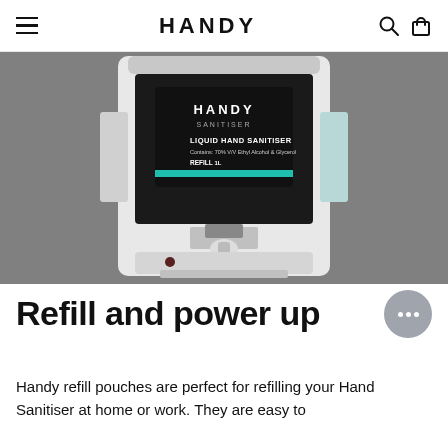HANDY
[Figure (photo): Close-up photo of a white automatic hand sanitiser dispenser with an open front compartment showing a black-labelled Handy Sanitiser refill pouch inserted. The label reads 'HANDY SANITISER / LIQUID HAND SANITISER / Contains: 70% V/V Ethyl Alcohol & Glycerol / REFILL 1L'. The background is grey.]
Refill and power up
Handy refill pouches are perfect for refilling your Hand Sanitiser at home or work. They are easy to